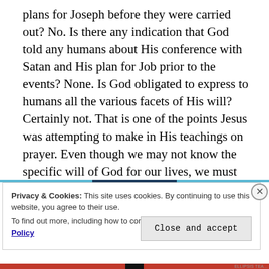plans for Joseph before they were carried out? No. Is there any indication that God told any humans about His conference with Satan and His plan for Job prior to the events? None. Is God obligated to express to humans all the various facets of His will? Certainly not. That is one of the points Jesus was attempting to make in His teachings on prayer. Even though we may not know the specific will of God for our lives, we must pray with a heart that is ready to accept the events God allows, understanding that God has a will to which we are not always privy.
Privacy & Cookies: This site uses cookies. By continuing to use this website, you agree to their use.
To find out more, including how to control cookies, see here: Cookie Policy
Close and accept